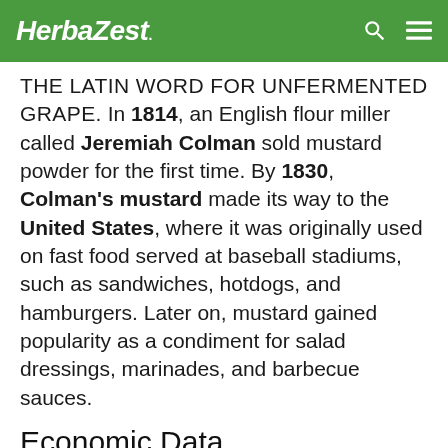HerbaZest.
THE LATIN WORD FOR UNFERMENTED GRAPE. In 1814, an English flour miller called Jeremiah Colman sold mustard powder for the first time. By 1830, Colman's mustard made its way to the United States, where it was originally used on fast food served at baseball stadiums, such as sandwiches, hotdogs, and hamburgers. Later on, mustard gained popularity as a condiment for salad dressings, marinades, and barbecue sauces.
Economic Data
The mustard seed industry produces over 600,000 metric tons annually, and the largest